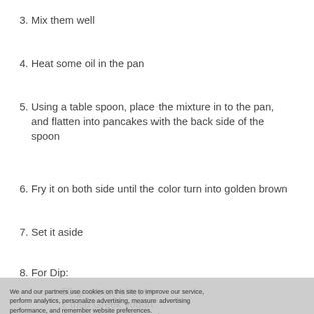3. Mix them well
4. Heat some oil in the pan
5. Using a table spoon, place the mixture in to the pan, and flatten into pancakes with the back side of the spoon
6. Fry it on both side until the color turn into golden brown
7. Set it aside
8. For Dip:
50 gr cream cheese
2 tbsp Greek yogurt
1 tbsp chopped rucola
Salt, and black pepper
Mix all ingredients in a bowl